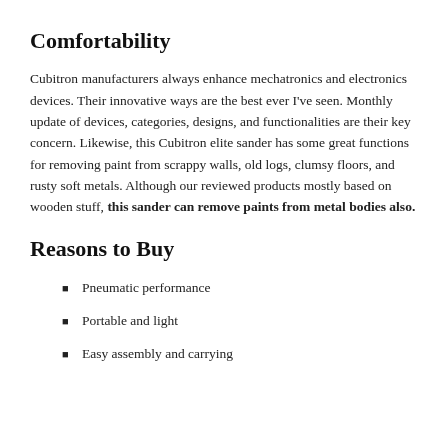Comfortability
Cubitron manufacturers always enhance mechatronics and electronics devices. Their innovative ways are the best ever I've seen. Monthly update of devices, categories, designs, and functionalities are their key concern. Likewise, this Cubitron elite sander has some great functions for removing paint from scrappy walls, old logs, clumsy floors, and rusty soft metals. Although our reviewed products mostly based on wooden stuff, this sander can remove paints from metal bodies also.
Reasons to Buy
Pneumatic performance
Portable and light
Easy assembly and carrying